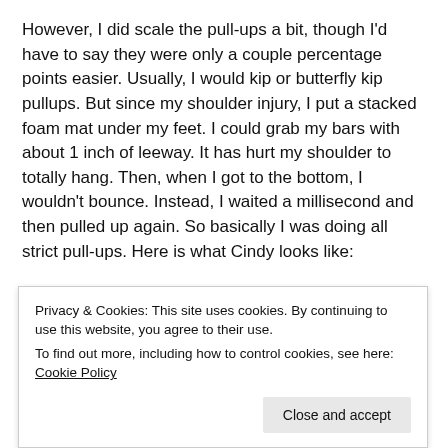However, I did scale the pull-ups a bit, though I'd have to say they were only a couple percentage points easier. Usually, I would kip or butterfly kip pullups. But since my shoulder injury, I put a stacked foam mat under my feet. I could grab my bars with about 1 inch of leeway. It has hurt my shoulder to totally hang. Then, when I got to the bottom, I wouldn't bounce. Instead, I waited a millisecond and then pulled up again. So basically I was doing all strict pull-ups. Here is what Cindy looks like:
20 minutes AMRAP (I did 10 minutes, as many rounds as possible)
5 pullups
10 pushups
15 squats
Privacy & Cookies: This site uses cookies. By continuing to use this website, you agree to their use.
To find out more, including how to control cookies, see here: Cookie Policy